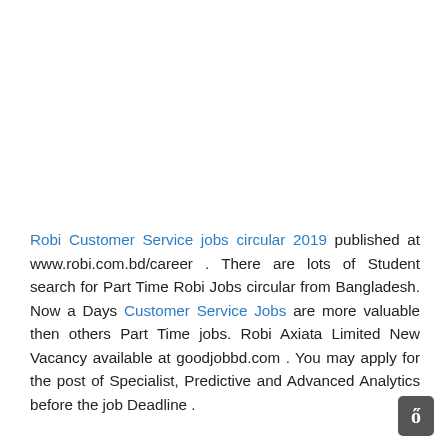Robi Customer Service jobs circular 2019 published at www.robi.com.bd/career . There are lots of Student search for Part Time Robi Jobs circular from Bangladesh. Now a Days Customer Service Jobs are more valuable then others Part Time jobs. Robi Axiata Limited New Vacancy available at goodjobbd.com . You may apply for the post of Specialist, Predictive and Advanced Analytics before the job Deadline .